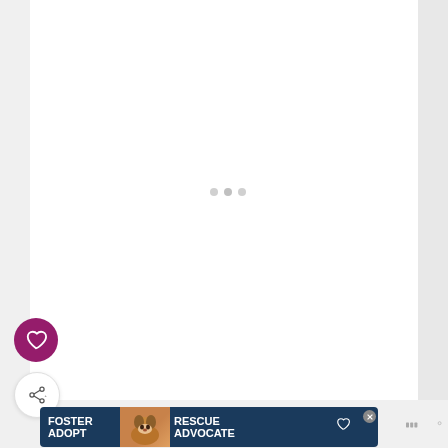[Figure (screenshot): White content area with three light gray loading dots centered, representing a loading/placeholder state of a webpage]
[Figure (illustration): Pink/magenta circular heart (favorite) button on the left sidebar]
[Figure (illustration): White circular share button with share icon on the left sidebar]
[Figure (illustration): Advertisement banner: dark navy background with white bold text FOSTER ADOPT on the left, a beagle dog photo in the center, and RESCUE ADVOCATE on the right]
Mediavine logo/watermark in bottom right